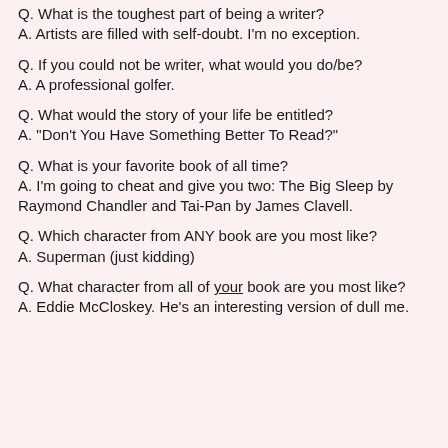Q.  What is the toughest part of being a writer?
A. Artists are filled with self-doubt. I'm no exception.
Q.  If you could not be writer, what would you do/be?
A. A professional golfer.
Q.  What would the story of your life be entitled?
A. "Don't You Have Something Better To Read?"
Q.  What is your favorite book of all time?
A. I'm going to cheat and give you two: The Big Sleep by Raymond Chandler and Tai-Pan by James Clavell.
Q.  Which character from ANY book are you most like?
A. Superman (just kidding)
Q.  What character from all of your book are you most like?
A. Eddie McCloskey. He's an interesting version of dull me.